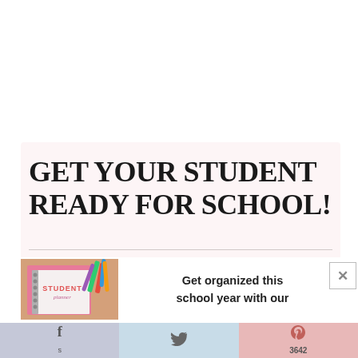GET YOUR STUDENT READY FOR SCHOOL!
[Figure (photo): A student planner notebook with colorful markers and pens on a pink background, labeled STUDENT planner]
Get organized this school year with our
f  [twitter bird icon]  P 3642